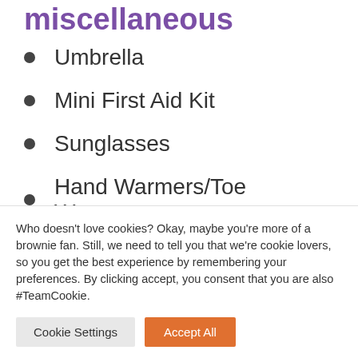miscellaneous
Umbrella
Mini First Aid Kit
Sunglasses
Hand Warmers/Toe Warmers
Who doesn't love cookies? Okay, maybe you're more of a brownie fan. Still, we need to tell you that we're cookie lovers, so you get the best experience by remembering your preferences. By clicking accept, you consent that you are also #TeamCookie.
Cookie Settings | Accept All